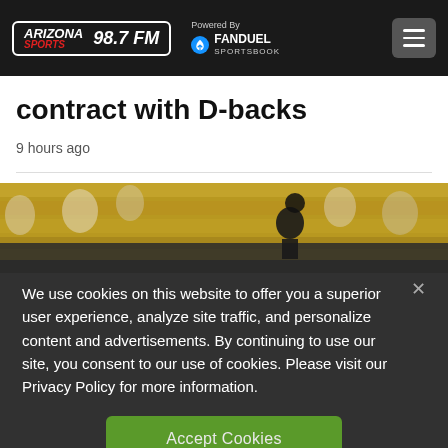Arizona Sports 98.7 FM | Powered By FanDuel Sportsbook
contract with D-backs
9 hours ago
[Figure (photo): Sports photo showing a baseball player with crowd/stadium seating in the background (partially visible).]
We use cookies on this website to offer you a superior user experience, analyze site traffic, and personalize content and advertisements. By continuing to use our site, you consent to our use of cookies. Please visit our Privacy Policy for more information.
Accept Cookies